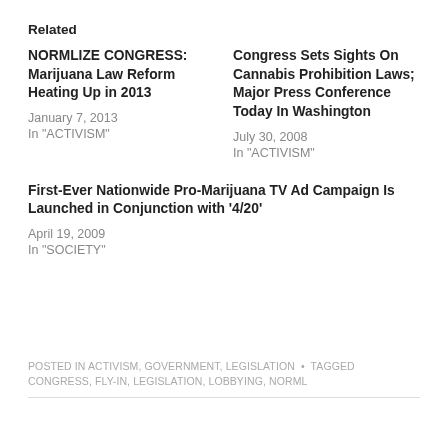Related
NORMLIZE CONGRESS: Marijuana Law Reform Heating Up in 2013
January 7, 2013
In "ACTIVISM"
Congress Sets Sights On Cannabis Prohibition Laws; Major Press Conference Today In Washington
July 30, 2008
In "ACTIVISM"
First-Ever Nationwide Pro-Marijuana TV Ad Campaign Is Launched in Conjunction with '4/20'
April 19, 2009
In "SOCIETY"
POSTED IN ACTIVISM, GOVERNMENT, LEGISLATION  •  TAGGED CONGRESS, FLY-IN, LEGISLATION, LOBBYING, NORML